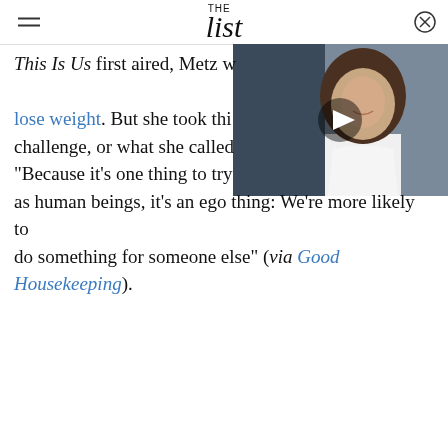THE list
[Figure (photo): A smiling woman with long dark hair wearing a white outfit, with a video play button overlay]
This Is Us first aired, Metz was contractually obligated to lose weight. But she took this challenge, or what she called "Because it's one thing to try as human beings, it's an ego thing: We're more likely to do something for someone else" (via Good Housekeeping).